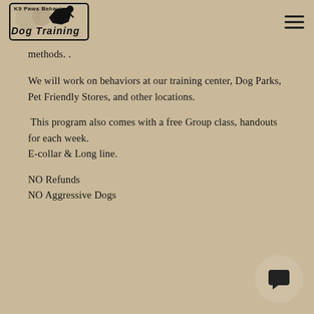K9 Paws Behavior Dog Training [logo] [hamburger menu]
methods. .
We will work on behaviors at our training center, Dog Parks, Pet Friendly Stores, and other locations.
This program also comes with a free Group class, handouts for each week.
E-collar & Long line.
NO Refunds
NO Aggressive Dogs